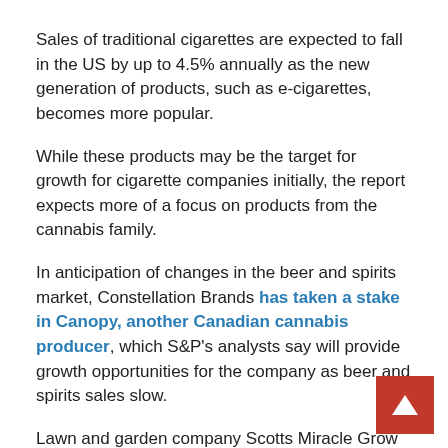Sales of traditional cigarettes are expected to fall in the US by up to 4.5% annually as the new generation of products, such as e-cigarettes, becomes more popular.
While these products may be the target for growth for cigarette companies initially, the report expects more of a focus on products from the cannabis family.
In anticipation of changes in the beer and spirits market, Constellation Brands has taken a stake in Canopy, another Canadian cannabis producer, which S&P's analysts say will provide growth opportunities for the company as beer and spirits sales slow.
Lawn and garden company Scotts Miracle Grow has invested $1bn buying companies that help users grow plants with little soil. “While hydroponics products are not solely dedicated to growing cannabis, we believe this is the primary purpose,” S&P analysts say.